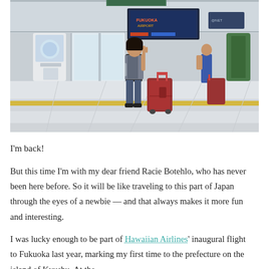[Figure (photo): Woman standing in a Japanese airport terminal giving a peace sign, with a red suitcase beside her; another traveler with a red rolling bag visible in background; tiled floor with yellow stripe, large digital display screen overhead]
I'm back!
But this time I'm with my dear friend Racie Botehlo, who has never been here before. So it will be like traveling to this part of Japan through the eyes of a newbie — and that always makes it more fun and interesting.
I was lucky enough to be part of Hawaiian Airlines' inaugural flight to Fukuoka last year, marking my first time to the prefecture on the island of Kyushu. At the